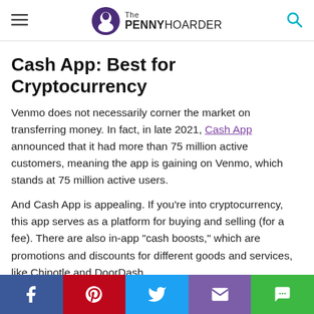The Penny Hoarder
Cash App: Best for Cryptocurrency
Venmo does not necessarily corner the market on transferring money. In fact, in late 2021, Cash App announced that it had more than 75 million active customers, meaning the app is gaining on Venmo, which stands at 75 million active users.
And Cash App is appealing. If you’re into cryptocurrency, this app serves as a platform for buying and selling (for a fee). There are also in-app “cash boosts,” which are promotions and discounts for different goods and services, like Chipotle and DoorDash.
There’s even a $5 referral bonus when you get a new friend
[Figure (infographic): Social sharing bar with Facebook, Pinterest, Twitter, email, and chat buttons]